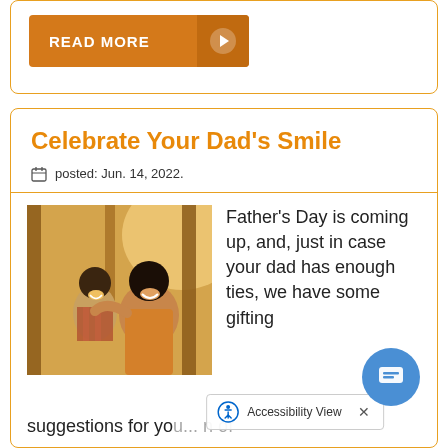[Figure (other): READ MORE button with orange background and right arrow icon]
Celebrate Your Dad's Smile
posted: Jun. 14, 2022.
[Figure (photo): A smiling father and young child sitting together on playground equipment, bright warm lighting]
Father's Day is coming up, and, just in case your dad has enough ties, we have some gifting suggestions for yo... n of